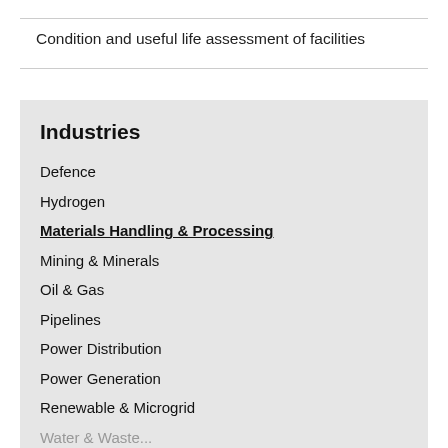Condition and useful life assessment of facilities
Industries
Defence
Hydrogen
Materials Handling & Processing
Mining & Minerals
Oil & Gas
Pipelines
Power Distribution
Power Generation
Renewable & Microgrid
Water & Wastewater